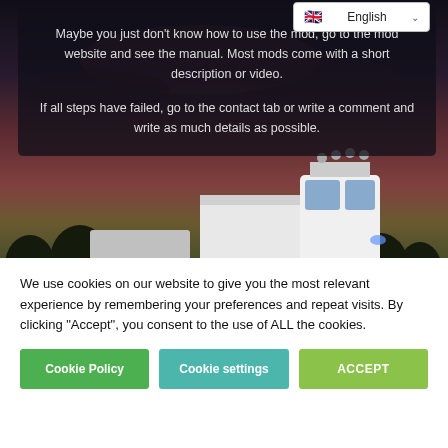[Figure (screenshot): Website screenshot showing a truck mod support page with a dark overlay on a truck image background, a language selector in the top right showing 'English' with a UK flag, and a partially visible section header. Below is a cookie consent banner with three buttons.]
Maybe you just don't know how to use the mod, go to the mod website and see the manual. Most mods come with a short description or video.
If all steps have failed, go to the contact tab or write a comment and write as much details as possible.
support
I HAVE NOT RECEIVED AN
We use cookies on our website to give you the most relevant experience by remembering your preferences and repeat visits. By clicking “Accept”, you consent to the use of ALL the cookies.
Cookie Policy
Cookie settings
ACCEPT